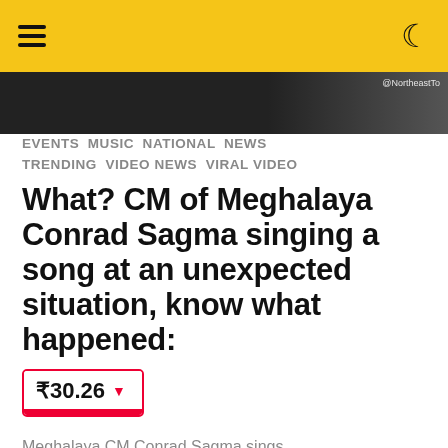[Figure (screenshot): Yellow navigation header bar with hamburger menu icon on left and crescent moon icon on right]
[Figure (photo): Dark hero image with @NortheastTo watermark visible at top right corner]
EVENTS  MUSIC  NATIONAL  NEWS  TRENDING  VIDEO NEWS  VIRAL VIDEO
What? CM of Meghalaya Conrad Sagma singing a song at an unexpected situation, know what happened:
[Figure (infographic): Price widget showing ₹30.26 with red downward arrow and red bottom bar, bordered in red]
Meghalaya CM Conrad Sagma sings.
by chaitanya jain  10 months ago